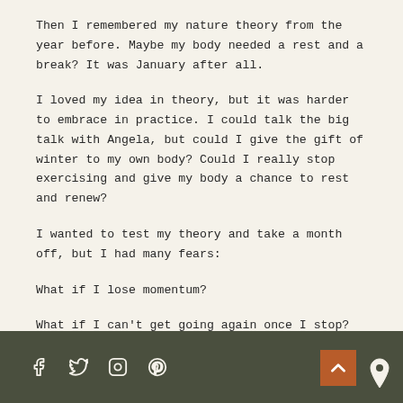Then I remembered my nature theory from the year before. Maybe my body needed a rest and a break? It was January after all.
I loved my idea in theory, but it was harder to embrace in practice. I could talk the big talk with Angela, but could I give the gift of winter to my own body? Could I really stop exercising and give my body a chance to rest and renew?
I wanted to test my theory and take a month off, but I had many fears:
What if I lose momentum?
What if I can't get going again once I stop?
Social media icons (Facebook, Twitter, Instagram, Pinterest), back to top button, map pin